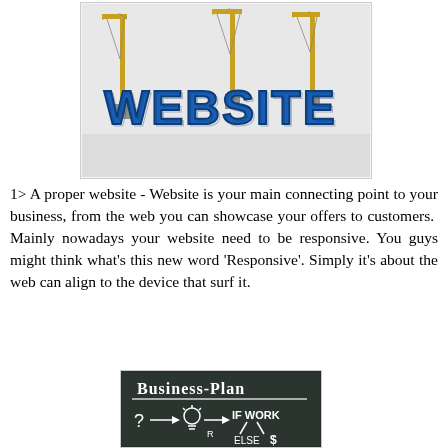[Figure (illustration): 3D blue 'WEBSITE' letters being constructed with yellow construction cranes on a white background]
1> A proper website - Website is your main connecting point to your business, from the web you can showcase your offers to customers.  Mainly nowadays your website need to be responsive. You guys might think what's this new word 'Responsive'. Simply it's about the web can align to the device that surf it.
[Figure (photo): Chalkboard showing 'Business-Plan' written in chalk, with a flowchart showing question mark arrow to lightbulb arrow to 'IF WORK' with branches to 'ELSE' and dollar sign]